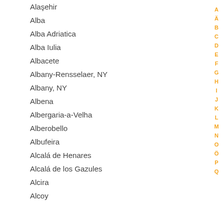Alaşehir
Alba
Alba Adriatica
Alba Iulia
Albacete
Albany-Rensselaer, NY
Albany, NY
Albena
Albergaria-a-Velha
Alberobello
Albufeira
Alcalá de Henares
Alcalá de los Gazules
Alcira
Alcoy